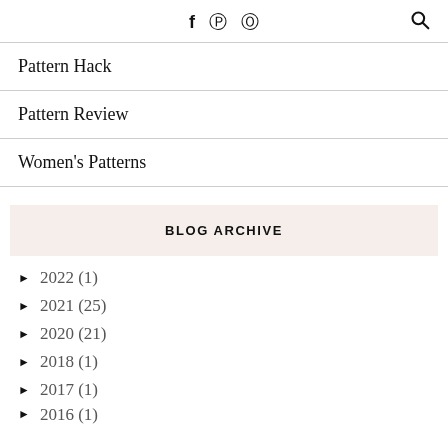f ⊕ ⊡  🔍
Pattern Hack
Pattern Review
Women's Patterns
BLOG ARCHIVE
► 2022 (1)
► 2021 (25)
► 2020 (21)
► 2018 (1)
► 2017 (1)
► 2016 (1)